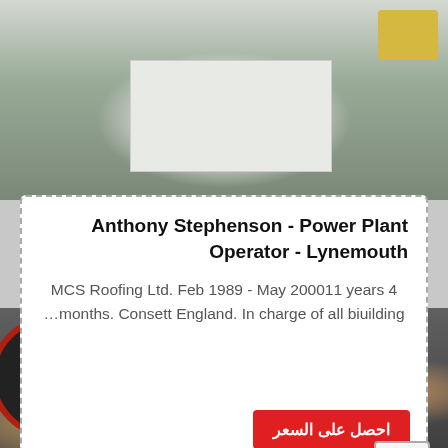[Figure (photo): Industrial warehouse/factory floor with a large white rectangular metal box or equipment housing in the center, on a concrete floor with industrial background]
Anthony Stephenson - Power Plant Operator - Lynemouth
MCS Roofing Ltd. Feb 1989 - May 200011 years 4 …months. Consett England. In charge of all biuilding
[Figure (photo): Industrial machinery showing large pulley wheels/flywheels with red rims arranged in a row, cream/yellow colored crusher or mill machines in background]